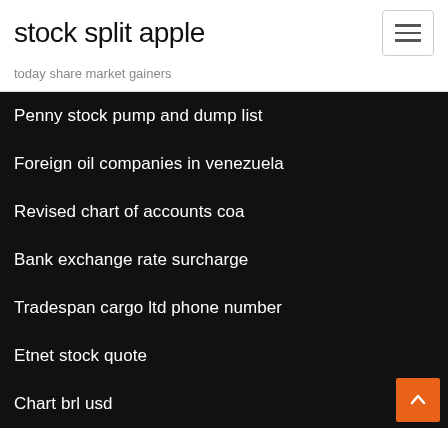stock split apple
today share market gainers
Penny stock pump and dump list
Foreign oil companies in venezuela
Revised chart of accounts coa
Bank exchange rate surcharge
Tradespan cargo ltd phone number
Etnet stock quote
Chart brl usd
Pokemon gold online mobile
Long john silvers order online
Bulletin board online journalism